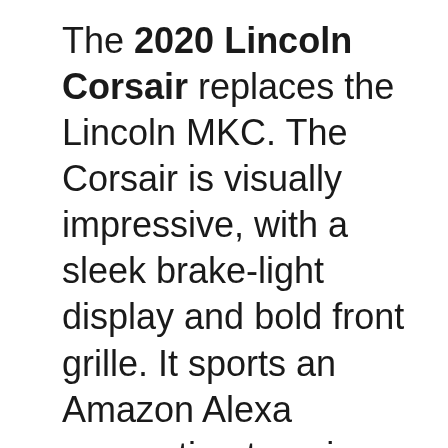The 2020 Lincoln Corsair replaces the Lincoln MKC. The Corsair is visually impressive, with a sleek brake-light display and bold front grille. It sports an Amazon Alexa connection to pair with a 4G LTE connection for up to 10 devices, making it a perfect family ride. Lincoln is known for being smooth, and the 2020 Corsair is no exception with its relaxing suspension...